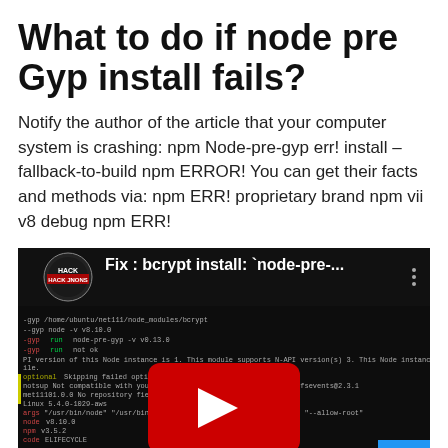What to do if node pre Gyp install fails?
Notify the author of the article that your computer system is crashing: npm Node-pre-gyp err! install –fallback-to-build npm ERROR! You can get their facts and methods via: npm ERR! proprietary brand npm vii v8 debug npm ERR!
[Figure (screenshot): YouTube video thumbnail showing a terminal/console output with bcrypt node-pre-gyp install error messages on a black background. The video title reads 'Fix : bcrypt install: node-pre-...' with a YouTube play button overlay. A blue scroll-to-top button is visible in the bottom right corner.]